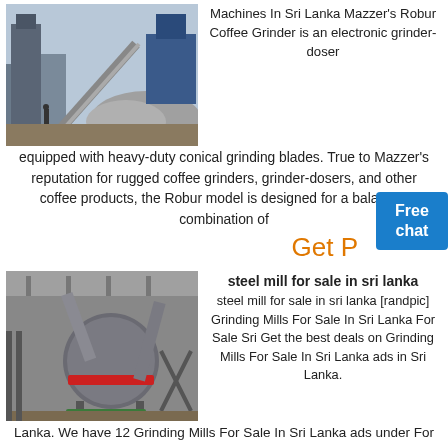[Figure (photo): Outdoor industrial grinding/crushing plant with large conveyor belt and piles of crushed stone/aggregate material, blue sky and industrial buildings in background.]
Machines In Sri Lanka Mazzer's Robur Coffee Grinder is an electronic grinder-doser equipped with heavy-duty conical grinding blades. True to Mazzer's reputation for rugged coffee grinders, grinder-dosers, and other coffee products, the Robur model is designed for a balanced combination of
Get P
[Figure (photo): Indoor industrial steel mill with large cylindrical grinding mill equipment, metallic pipes and support structures in a warehouse setting.]
steel mill for sale in sri lanka
steel mill for sale in sri lanka [randpic] Grinding Mills For Sale In Sri Lanka For Sale Sri Get the best deals on Grinding Mills For Sale In Sri Lanka ads in Sri Lanka. We have 12 Grinding Mills For Sale In Sri Lanka ads under For Sale category. Lankabuysell Free Classified